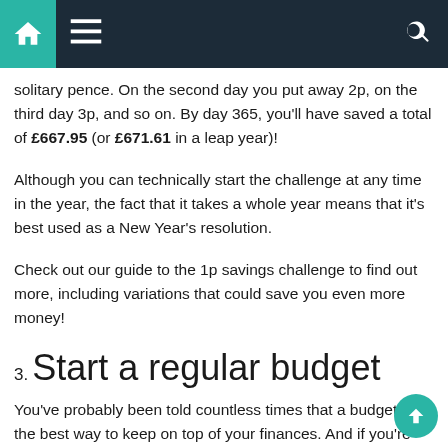Navigation bar with home, menu, and search icons
solitary pence. On the second day you put away 2p, on the third day 3p, and so on. By day 365, you'll have saved a total of £667.95 (or £671.61 in a leap year)!
Although you can technically start the challenge at any time in the year, the fact that it takes a whole year means that it's best used as a New Year's resolution.
Check out our guide to the 1p savings challenge to find out more, including variations that could save you even more money!
3. Start a regular budget
You've probably been told countless times that a budget is the best way to keep on top of your finances. And if you're waiting for us to tell you that there's a much more